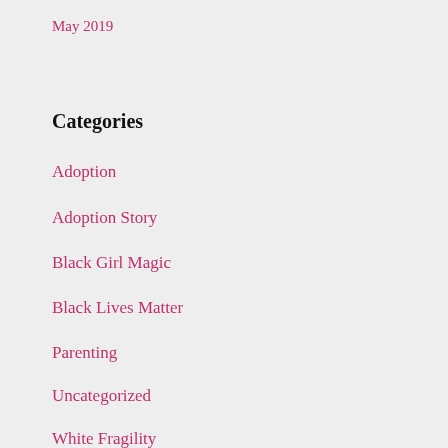May 2019
Categories
Adoption
Adoption Story
Black Girl Magic
Black Lives Matter
Parenting
Uncategorized
White Fragility
White Privilege